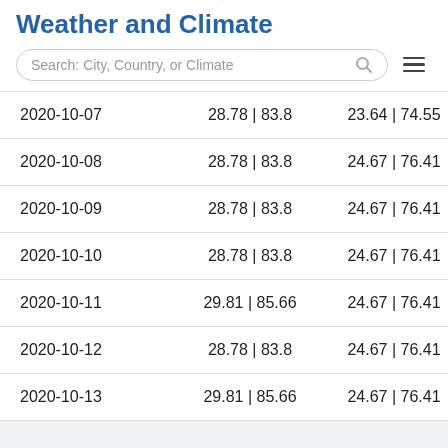Weather and Climate
Search: City, Country, or Climate
| 2020-10-07 | 28.78 | 83.8 | 23.64 | 74.55 |
| 2020-10-08 | 28.78 | 83.8 | 24.67 | 76.41 |
| 2020-10-09 | 28.78 | 83.8 | 24.67 | 76.41 |
| 2020-10-10 | 28.78 | 83.8 | 24.67 | 76.41 |
| 2020-10-11 | 29.81 | 85.66 | 24.67 | 76.41 |
| 2020-10-12 | 28.78 | 83.8 | 24.67 | 76.41 |
| 2020-10-13 | 29.81 | 85.66 | 24.67 | 76.41 |